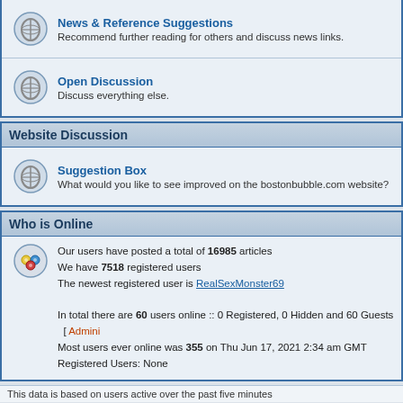News & Reference Suggestions
Recommend further reading for others and discuss news links.
Open Discussion
Discuss everything else.
Website Discussion
Suggestion Box
What would you like to see improved on the bostonbubble.com website?
Who is Online
Our users have posted a total of 16985 articles
We have 7518 registered users
The newest registered user is RealSexMonster69
In total there are 60 users online :: 0 Registered, 0 Hidden and 60 Guests  [ Admini...
Most users ever online was 355 on Thu Jun 17, 2021 2:34 am GMT
Registered Users: None
This data is based on users active over the past five minutes
Log in
Username:  [input]  Password:  [input]  Log me on
New posts
No new posts